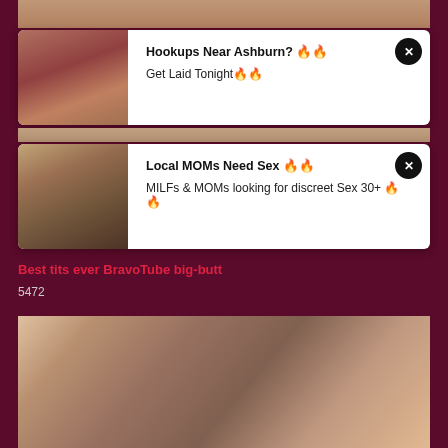[Figure (photo): Partial adult content image at top]
[Figure (screenshot): Ad card 1: Hookups Near Ashburn? with thumbnail and close button]
[Figure (screenshot): Ad card 2: Local MOMs Need Sex with thumbnail and close button]
Best tits ever BravoTube big-butt
5472
[Figure (photo): Adult video thumbnail showing two people]